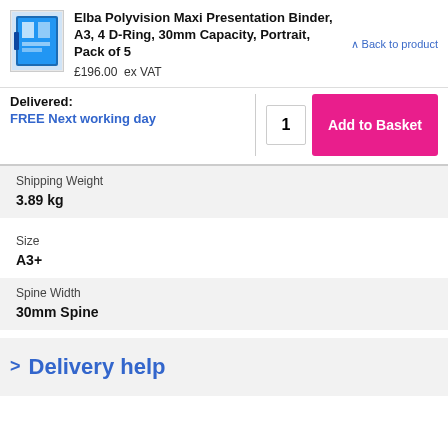Elba Polyvision Maxi Presentation Binder, A3, 4 D-Ring, 30mm Capacity, Portrait, Pack of 5
£196.00  ex VAT
Back to product
Delivered:
FREE Next working day
1
Add to Basket
Shipping Weight
3.89 kg
Size
A3+
Spine Width
30mm Spine
> Delivery help